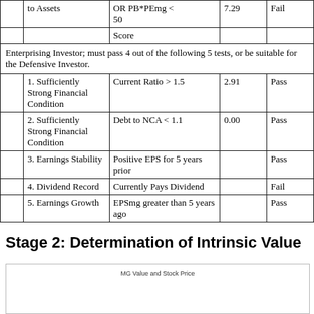|  | Test | Criteria | Value | Result |
| --- | --- | --- | --- | --- |
|  | to Assets | OR PB*PEmg < 50 | 7.29 | Fail |
|  |  | Score |  |  |
| Enterprising Investor; must pass 4 out of the following 5 tests, or be suitable for the Defensive Investor. |  |  |  |  |
|  | 1. Sufficiently Strong Financial Condition | Current Ratio > 1.5 | 2.91 | Pass |
|  | 2. Sufficiently Strong Financial Condition | Debt to NCA < 1.1 | 0.00 | Pass |
|  | 3. Earnings Stability | Positive EPS for 5 years prior |  | Pass |
|  | 4. Dividend Record | Currently Pays Dividend |  | Fail |
|  | 5. Earnings Growth | EPSmg greater than 5 years ago |  | Pass |
Stage 2: Determination of Intrinsic Value
[Figure (other): MG Value and Stock Price chart placeholder]